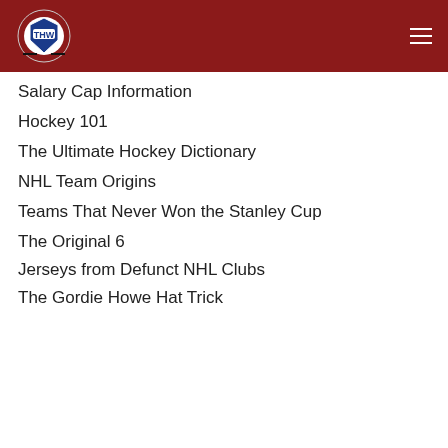THW - The Hockey Writers
Salary Cap Information
Hockey 101
The Ultimate Hockey Dictionary
NHL Team Origins
Teams That Never Won the Stanley Cup
The Original 6
Jerseys from Defunct NHL Clubs
The Gordie Howe Hat Trick
[Figure (screenshot): Video ad overlay showing a man (Steve Yzerman?) with Ad 1 of 1 (0:18) badge, and an 'Up Next - 2022-2023 OHL Futures Watch - Hamilton Bulldogs' panel on the right with a close button]
[Figure (screenshot): Bottom advertisement banner: Recommend: This, n/a, with blue arrow button and decorative purple circles]